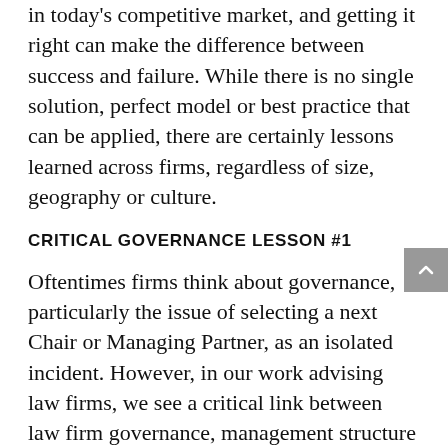in today's competitive market, and getting it right can make the difference between success and failure. While there is no single solution, perfect model or best practice that can be applied, there are certainly lessons learned across firms, regardless of size, geography or culture.
CRITICAL GOVERNANCE LESSON #1
Oftentimes firms think about governance, particularly the issue of selecting a next Chair or Managing Partner, as an isolated incident. However, in our work advising law firms, we see a critical link between law firm governance, management structure and firm strategy.  A firm's governance structure needs to align with